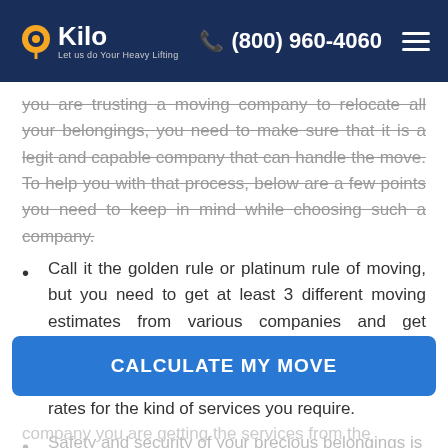Kilo — Let us do Your Heavy Lifting | (800) 960-4060
you are trusting a moving company to relocate all your belongings, you need to make sure that it is a legit and capable company that can handle the move. To help you with that process, below are a few points you need to keep in mind while choosing such a company.
Call it the golden rule or platinum rule of moving, but you need to get at least 3 different moving estimates from various companies and get yourself up to speed with the current market rates.
Choose the one that offers you the best possible rates for the kind of services you require.
Safety and security of your precious belongings is
CALCULATE MY MOVE
company you are getting the services from the